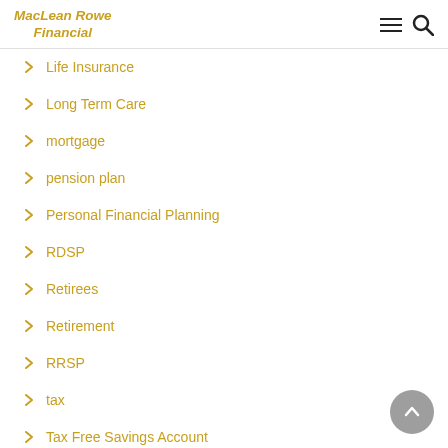MacLean Rowe Financial
Life Insurance
Long Term Care
mortgage
pension plan
Personal Financial Planning
RDSP
Retirees
Retirement
RRSP
tax
Tax Free Savings Account